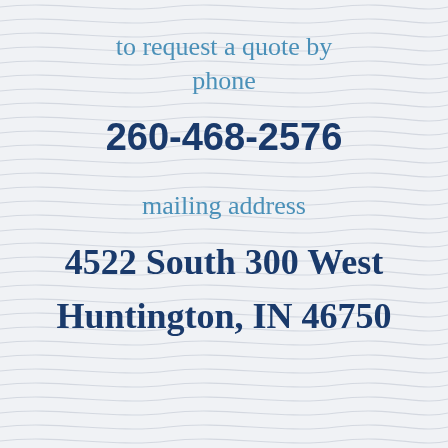to request a quote by phone
260-468-2576
mailing address
4522 South 300 West
Huntington, IN 46750